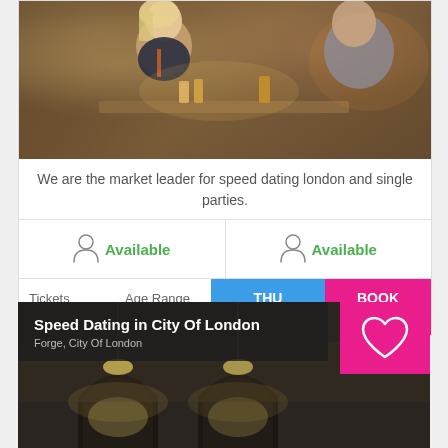[Figure (photo): People socializing at a bar/restaurant scene, speed dating event]
We are the market leader for speed dating london and single parties.
Available   Available
Tickets £15  Age Range 23-35 yrs  THU 15 SEP  BOOK NOW
[Figure (photo): Interior of Forge, City Of London venue with stone arch architecture]
Speed Dating in City Of London
Forge, City Of London